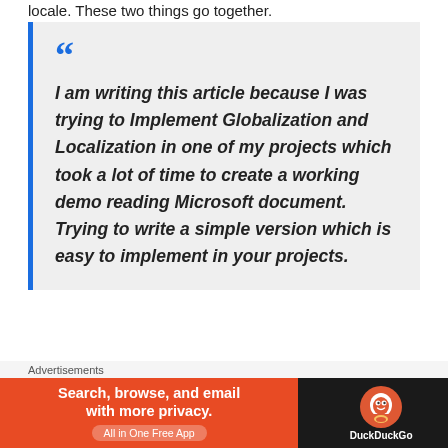locale. These two things go together.
I am writing this article because I was trying to Implement Globalization and Localization in one of my projects which took a lot of time to create a working demo reading Microsoft document. Trying to write a simple version which is easy to implement in your projects.
DataAnnotations localization
Advertisements
[Figure (infographic): DuckDuckGo advertisement banner: orange and black background, text 'Search, browse, and email with more privacy. All in One Free App' with DuckDuckGo logo]